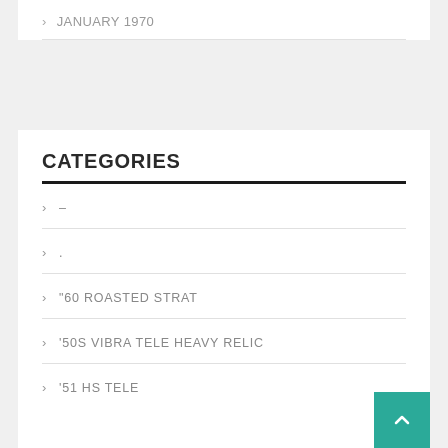> JANUARY 1970
CATEGORIES
> –
> .
> "60 ROASTED STRAT
> '50S VIBRA TELE HEAVY RELIC
> '51 HS TELE